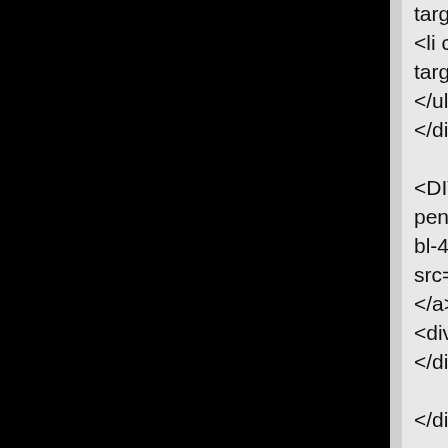[Figure (screenshot): Black panel on the left side of the page, likely a screenshot or image area]
target="_b
<li class="
target="_b
</ul>
</div>

<DIV align
penna-a-st
bl-4cde-p-
src="http:/
</a></DIV>
<div align=
</div>

</div>

</div>